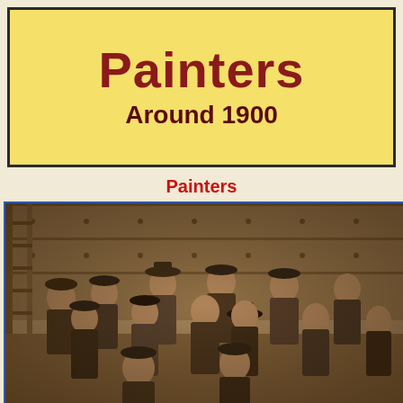Painters Around 1900
Painters
[Figure (photo): Sepia-toned group photograph of approximately 14 male painters/workers posed together around 1900, wearing period working clothes, caps and hats, standing and sitting in front of what appears to be a wagon or large vehicle, with ladders visible on the left side.]